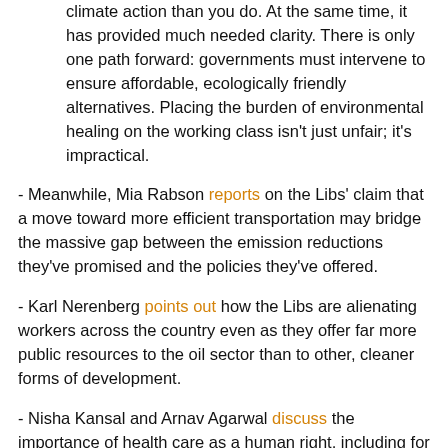climate action than you do. At the same time, it has provided much needed clarity. There is only one path forward: governments must intervene to ensure affordable, ecologically friendly alternatives. Placing the burden of environmental healing on the working class isn't just unfair; it's impractical.
- Meanwhile, Mia Rabson reports on the Libs' claim that a move toward more efficient transportation may bridge the massive gap between the emission reductions they've promised and the policies they've offered.
- Karl Nerenberg points out how the Libs are alienating workers across the country even as they offer far more public resources to the oil sector than to other, cleaner forms of development.
- Nisha Kansal and Arnav Agarwal discuss the importance of health care as a human right, including for migrants who are currently excluded from the Canadian health care system.
- Finally, Lana Payne offers a few inspirational stories of